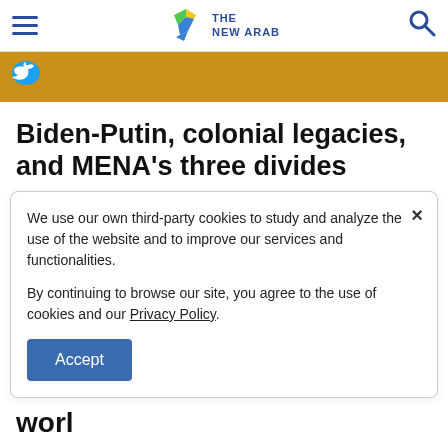THE NEW ARAB
[Figure (logo): The New Arab logo with colorful bird and blue text]
Biden-Putin, colonial legacies, and MENA's three divides
We use our own third-party cookies to study and analyze the use of the website and to improve our services and functionalities.

By continuing to browse our site, you agree to the use of cookies and our Privacy Policy.